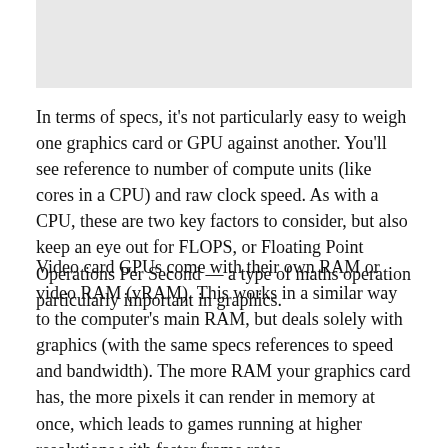[Figure (other): Gray placeholder image at the top of the page]
In terms of specs, it's not particularly easy to weigh one graphics card or GPU against another. You'll see reference to number of compute units (like cores in a CPU) and raw clock speed. As with a CPU, these are two key factors to consider, but also keep an eye out for FLOPS, or Floating Point Operations Per Second — a type of maths operation particularly important in graphics.
Video card GPUs come with their own RAM or video RAM (vRAM). This works in a similar way to the computer's main RAM, but deals solely with graphics (with the same specs references to speed and bandwidth). The more RAM your graphics card has, the more pixels it can render in memory at once, which leads to games running at higher resolutions with faster frame rates.